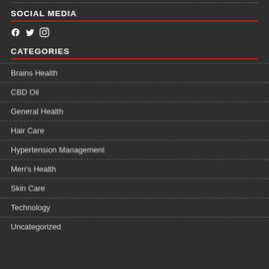Terms and Conditions
SOCIAL MEDIA
[Figure (illustration): Social media icons: Facebook, Twitter, Instagram]
CATEGORIES
Brains Health
CBD Oil
General Health
Hair Care
Hypertension Management
Men's Health
Skin Care
Technology
Uncategorized